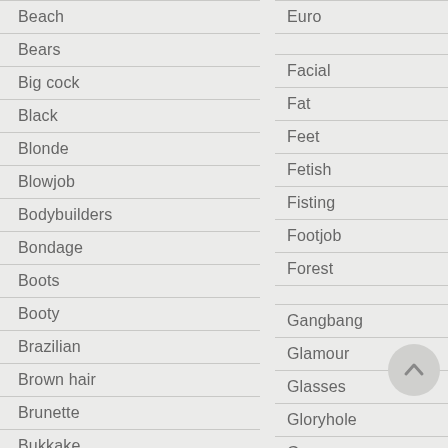Beach
Bears
Big cock
Black
Blonde
Blowjob
Bodybuilders
Bondage
Boots
Booty
Brazilian
Brown hair
Brunette
Bukkake
C
Car
Euro
Facial
Fat
Feet
Fetish
Fisting
Footjob
Forest
G
Gangbang
Glamour
Glasses
Gloryhole
Groupsex
Gym